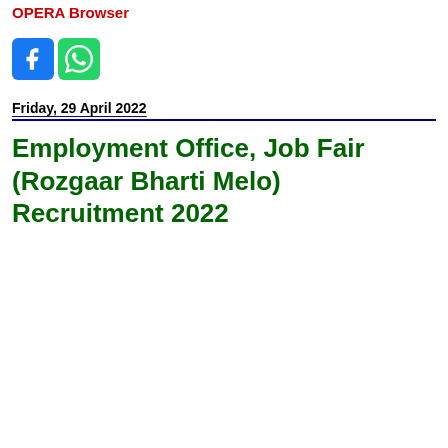OPERA Browser
[Figure (logo): Facebook and WhatsApp social media icons]
Friday, 29 April 2022
Employment Office, Job Fair (Rozgaar Bharti Melo) Recruitment 2022